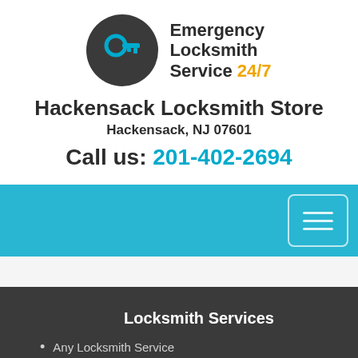[Figure (logo): Dark circular logo with a blue key icon]
Emergency Locksmith Service 24/7
Hackensack Locksmith Store
Hackensack, NJ 07601
Call us: 201-402-2694
[Figure (other): Cyan navigation bar with hamburger menu icon]
Locksmith Services
Any Locksmith Service